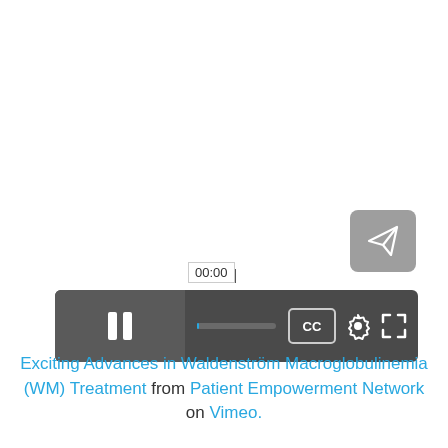[Figure (screenshot): Video player screenshot showing a paused Vimeo video with dark control bar including pause button, timestamp 00:00, progress bar, CC button, settings gear icon, and fullscreen icon. A grey share button with paper-plane icon is visible in the upper right area.]
Exciting Advances in Waldenström Macroglobulinemia (WM) Treatment from Patient Empowerment Network on Vimeo.